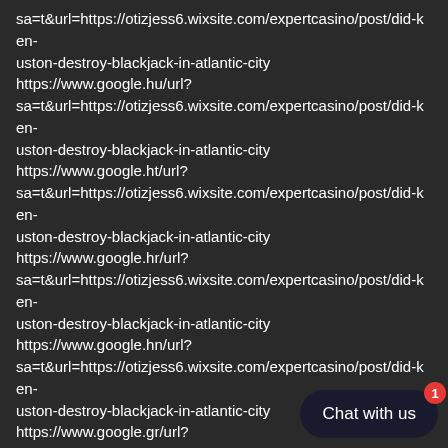sa=t&url=https://otizjess6.wixsite.com/expertcasino/post/did-ken-uston-destroy-blackjack-in-atlantic-city
https://www.google.hu/url?
sa=t&url=https://otizjess6.wixsite.com/expertcasino/post/did-ken-uston-destroy-blackjack-in-atlantic-city
https://www.google.ht/url?
sa=t&url=https://otizjess6.wixsite.com/expertcasino/post/did-ken-uston-destroy-blackjack-in-atlantic-city
https://www.google.hr/url?
sa=t&url=https://otizjess6.wixsite.com/expertcasino/post/did-ken-uston-destroy-blackjack-in-atlantic-city
https://www.google.hn/url?
sa=t&url=https://otizjess6.wixsite.com/expertcasino/post/did-ken-uston-destroy-blackjack-in-atlantic-city
https://www.google.gr/url?
sa=t&url=https://otizjess6.wixsite.com/expertcasino/post/did-ken-uston-destroy-blackjack-in-atlantic-city
https://www.google.gp/url?
sa=t&url=https://otizjess6.wixsite.com/expertcasino/post/did-ken-uston-destroy-blackjack-in-atlantic-city
https://www.google.gm/url?
sa=t&url=https://otizjess6.wixsite.com/expertca... uston-destroy-blackjack-in-atlantic-city
https://www.google.gl/url?
[Figure (other): Chat with us button widget with red badge showing number 1]